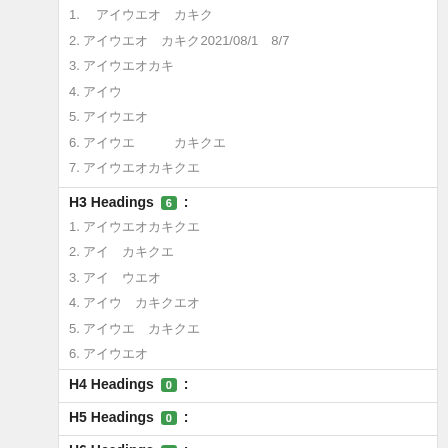1. [Japanese text]
2. [Japanese text] 2021/08/1[?]8/7[?]
3. [Japanese text]
4. [Japanese text]
5. [Japanese text]
6. [Japanese text]   [Japanese text]
7. [Japanese text]
H3 Headings 6 :
1. [Japanese text]
2. [Japanese text]
3. [Japanese text]
4. [Japanese text]
5. [Japanese text]
6. [Japanese text]
H4 Headings 0 :
H5 Headings 0 :
H6 Headings 0 :